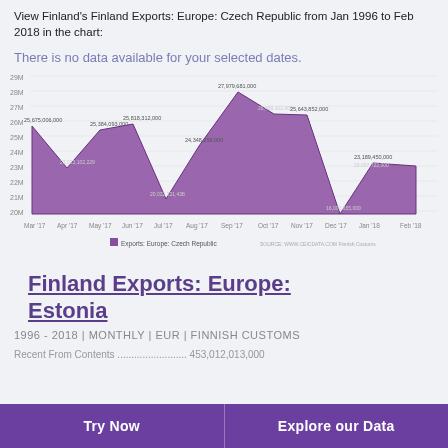View Finland's Finland Exports: Europe: Czech Republic from Jan 1996 to Feb 2018 in the chart:
There is no data available for your selected dates.
[Figure (area-chart): Finland Exports: Europe: Czech Republic]
Finland Exports: Europe: Estonia
1996 - 2018 | MONTHLY | EUR | FINNISH CUSTOMS
Recent From Contents
Try Now | Explore our Data